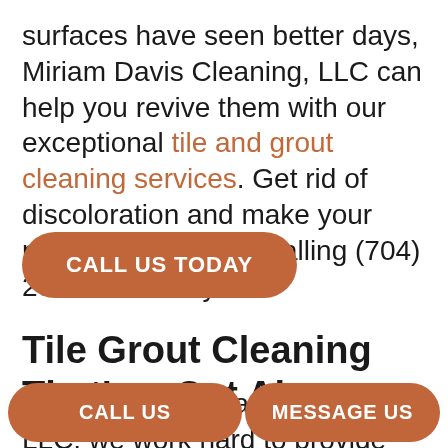surfaces have seen better days, Miriam Davis Cleaning, LLC can help you revive them with our exceptional tile and grout cleaning services. Get rid of discoloration and make your property sparkle by calling (704) 201-6111 today.
CALL US TODAY
Tile Grout Cleaning That's a Cut Above
Here at Miriam Davis Cleaning, LLC, we work hard to provide tile cleaning services that
CALL US
MESSAGE US
expect us to get rid of the dirt that's been